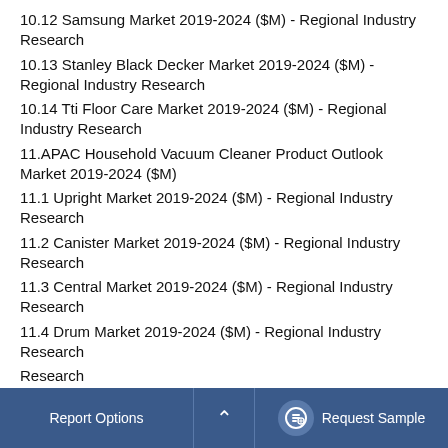10.12 Samsung Market 2019-2024 ($M) - Regional Industry Research
10.13 Stanley Black Decker Market 2019-2024 ($M) - Regional Industry Research
10.14 Tti Floor Care Market 2019-2024 ($M) - Regional Industry Research
11.APAC Household Vacuum Cleaner Product Outlook Market 2019-2024 ($M)
11.1 Upright Market 2019-2024 ($M) - Regional Industry Research
11.2 Canister Market 2019-2024 ($M) - Regional Industry Research
11.3 Central Market 2019-2024 ($M) - Regional Industry Research
11.4 Drum Market 2019-2024 ($M) - Regional Industry Research
Report Options    ^    Request Sample